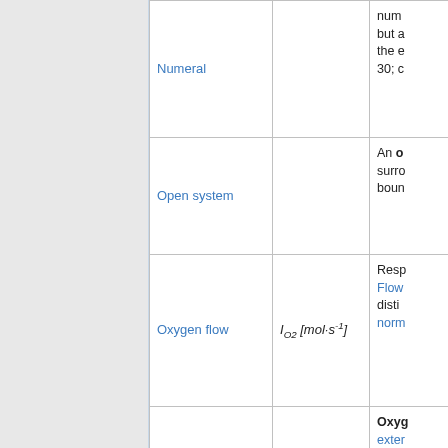| Term | Symbol | Definition |
| --- | --- | --- |
| Numeral |  | num... but a... the e... 30; c... |
| Open system |  | An o... surro... boun... |
| Oxygen flow | I_O2 [mol·s⁻¹] | Resp... Flow... distin... norm... |
| Oxygen flux | J_O2 | Oxyg... exter... ¹·mL... flux (... objec... |
| Oxygen pressure | p_O2 [kPa] | Oxyg... the c... |